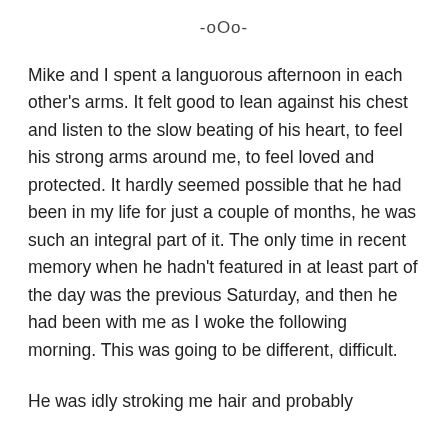-oOo-
Mike and I spent a languorous afternoon in each other’s arms. It felt good to lean against his chest and listen to the slow beating of his heart, to feel his strong arms around me, to feel loved and protected. It hardly seemed possible that he had been in my life for just a couple of months, he was such an integral part of it. The only time in recent memory when he hadn’t featured in at least part of the day was the previous Saturday, and then he had been with me as I woke the following morning. This was going to be different, difficult.
He was idly stroking me hair and probably